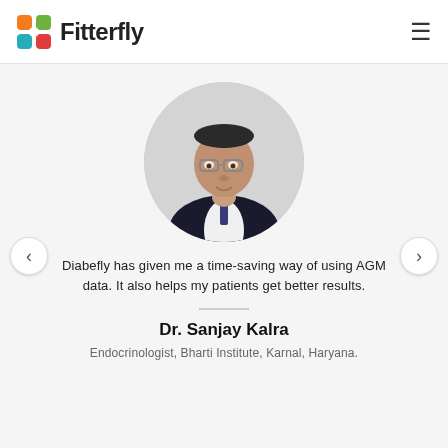Fitterfly
[Figure (photo): Circular portrait photo of Dr. Sanjay Kalra, a middle-aged man wearing glasses and a dark suit with a tie, against a light background.]
Diabefly has given me a time-saving way of using AGM data. It also helps my patients get better results.
Dr. Sanjay Kalra
Endocrinologist, Bharti Institute, Karnal, Haryana.